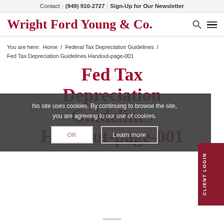Contact | (949) 910-2727 | Sign-Up for Our Newsletter
Wright Ford Young & Co.
You are here:  Home  /  Federal Tax Depreciation Guidelines  /  Fed Tax Depreciation Guidelines Handout-page-001
Fed Tax Depreciation Guidelines Handout-page-001
This site uses cookies. By continuing to browse the site, you are agreeing to our use of cookies.